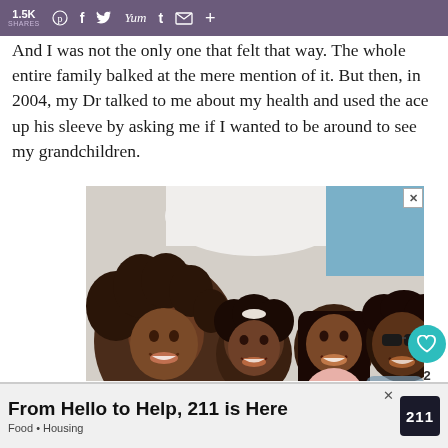1.5K SHARES  [Pinterest] [Facebook] [Twitter] [Yummly] [Tumblr] [Email] [+]
And I was not the only one that felt that way. The whole entire family balked at the mere mention of it. But then, in 2004, my Dr talked to me about my health and used the ace up his sleeve by asking me if I wanted to be around to see my grandchildren.
[Figure (photo): Overhead photo of a Black family of four lying on a bed smiling up at the camera, with text overlay 'Black Families Mat...' at the bottom]
Black Families Mat...
From Hello to Help, 211 is Here
Food • Housing